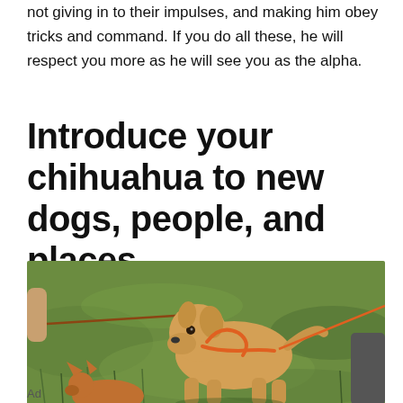not giving in to their impulses, and making him obey tricks and command. If you do all these, he will respect you more as he will see you as the alpha.
Introduce your chihuahua to new dogs, people, and places
[Figure (photo): A golden/yellow Labrador puppy on a leash with an orange harness, sniffing the grass. Another dog (chihuahua, partially visible) is on the ground nearby. A person holds the leash. Green grass background.]
Download The Free App
Ad